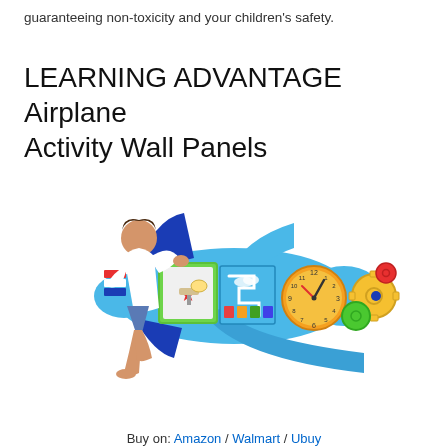guaranteeing non-toxicity and your children's safety.
LEARNING ADVANTAGE Airplane Activity Wall Panels
[Figure (photo): A young toddler reaching up to interact with a large colorful airplane-shaped activity wall panel toy. The panel includes a whiteboard, maze track, clock face, and spinning gears in blue, green, yellow, orange, and red colors.]
Buy on: Amazon / Walmart / Ubuy